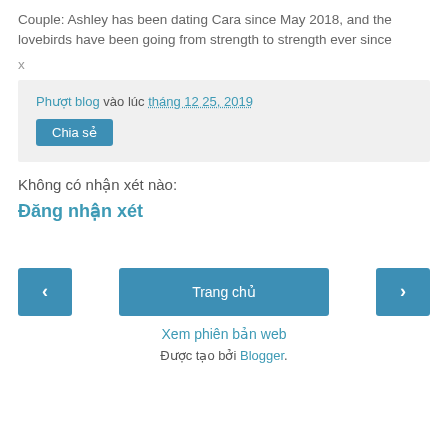Couple: Ashley has been dating Cara since May 2018, and the lovebirds have been going from strength to strength ever since
x
Phượt blog vào lúc tháng 12 25, 2019
Chia sẻ
Không có nhận xét nào:
Đăng nhận xét
‹  Trang chủ  ›
Xem phiên bản web
Được tạo bởi Blogger.